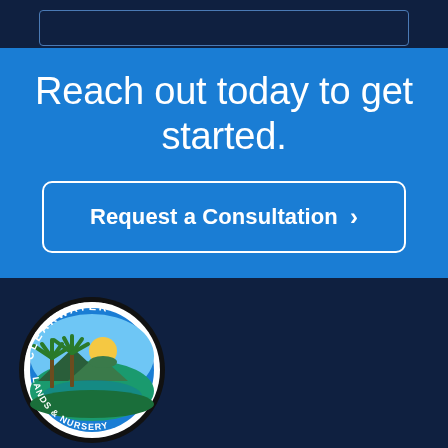[Figure (other): Dark navy background with a rectangular outline box, likely a form or input field area]
Reach out today to get started.
Request a Consultation >
[Figure (logo): Clearwater Landscape & Nursery circular logo with palm trees, sun and water scene on dark navy footer background]